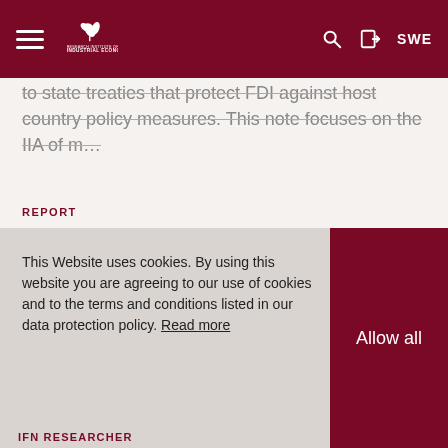Research Institute of Industrial Economics — SWE
to state treaties that protect FDI against host country policy measures. This note focuses on the IIA of m…
REPORT
Publish date
12/9/2021
This Website uses cookies. By using this website you are agreeing to our use of cookies and to the terms and conditions listed in our data protection policy. Read more
Allow all
IFN RESEARCHER